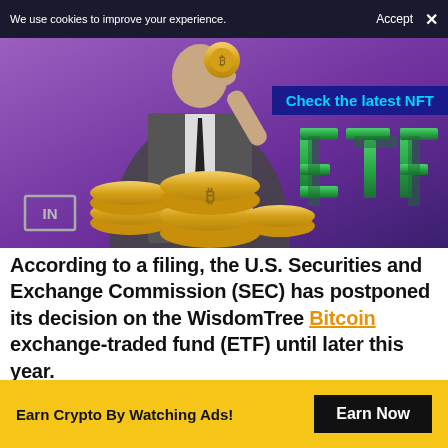We use cookies to improve your experience.   Accept  ✕
[Figure (illustration): Promotional image showing a person in a suit holding a golden Bitcoin coin, surrounded by cryptocurrency coins, with a large green 3D 'ETF' text, on a purple background. A 'Check the latest NFT' dark blue banner overlays the top-right. A bracketed 'IN' logo appears bottom-left.]
According to a filing, the U.S. Securities and Exchange Commission (SEC) has postponed its decision on the WisdomTree Bitcoin exchange-traded fund (ETF) until later this year.
Earn Crypto By Watching Ads!   Earn Now